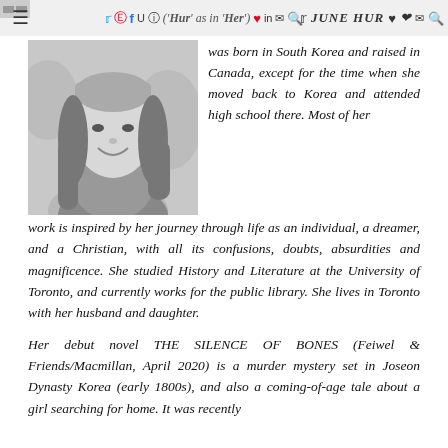JUNE HUR ('Hur' as in 'Her')
[Figure (photo): Black and white photo of a young woman smiling, with long dark hair, outdoors with blurred floral background.]
was born in South Korea and raised in Canada, except for the time when she moved back to Korea and attended high school there. Most of her work is inspired by her journey through life as an individual, a dreamer, and a Christian, with all its confusions, doubts, absurdities and magnificence. She studied History and Literature at the University of Toronto, and currently works for the public library. She lives in Toronto with her husband and daughter.
Her debut novel THE SILENCE OF BONES (Feiwel & Friends/Macmillan, April 2020) is a murder mystery set in Joseon Dynasty Korea (early 1800s), and also a coming-of-age tale about a girl searching for home. It was recently